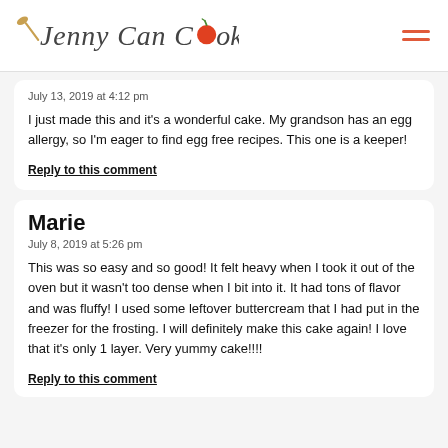Jenny Can Cook
July 13, 2019 at 4:12 pm
I just made this and it's a wonderful cake. My grandson has an egg allergy, so I'm eager to find egg free recipes. This one is a keeper!
Reply to this comment
Marie
July 8, 2019 at 5:26 pm
This was so easy and so good! It felt heavy when I took it out of the oven but it wasn't too dense when I bit into it. It had tons of flavor and was fluffy! I used some leftover buttercream that I had put in the freezer for the frosting. I will definitely make this cake again! I love that it's only 1 layer. Very yummy cake!!!!
Reply to this comment